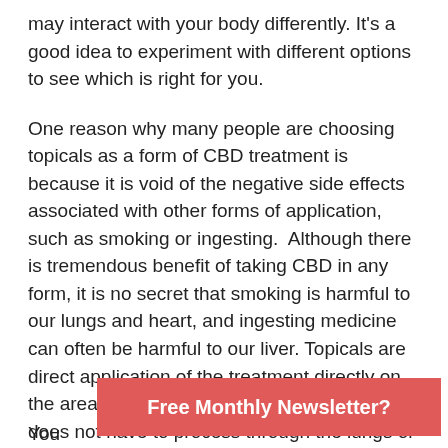may interact with your body differently. It's a good idea to experiment with different options to see which is right for you.
One reason why many people are choosing topicals as a form of CBD treatment is because it is void of the negative side effects associated with other forms of application, such as smoking or ingesting.  Although there is tremendous benefit of taking CBD in any form, it is no secret that smoking is harmful to our lungs and heart, and ingesting medicine can often be harmful to our liver. Topicals are direct application of the treatment directly on the area of the body that is being affected and does not have to process through the lungs or liver.
What Is CBD?
You
Free Monthly Newsletter?